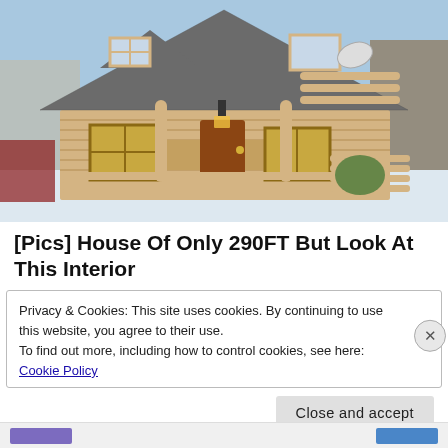[Figure (photo): Exterior photograph of a small log cabin with a steep wooden shingle roof, large front porch with log railings, wooden windows, a lantern light fixture, and a satellite dish. Snow is visible on the ground and bare trees in the background under a blue sky.]
[Pics] House Of Only 290FT But Look At This Interior
Privacy & Cookies: This site uses cookies. By continuing to use this website, you agree to their use.
To find out more, including how to control cookies, see here:
Cookie Policy
Close and accept